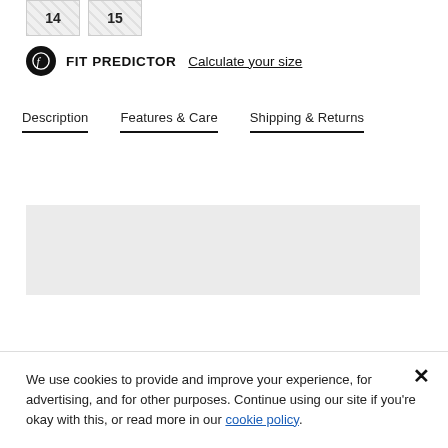[Figure (other): Two size selector buttons showing '14' and '15' with diagonal hatching pattern indicating unavailable/greyed out sizes]
FIT PREDICTOR  Calculate your size
Description   Features & Care   Shipping & Returns
[Figure (other): Grey placeholder rectangle, likely a loading or content area]
We use cookies to provide and improve your experience, for advertising, and for other purposes. Continue using our site if you're okay with this, or read more in our cookie policy.